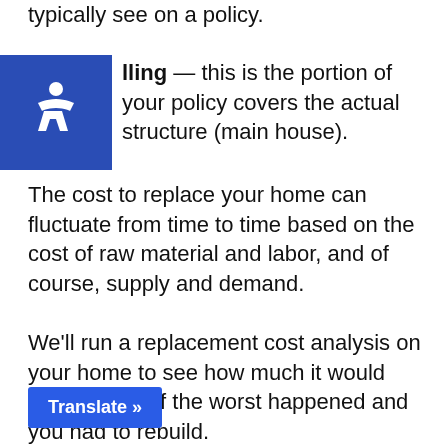typically see on a policy.
Dwelling — this is the portion of your policy covers the actual structure (main house). The cost to replace your home can fluctuate from time to time based on the cost of raw material and labor, and of course, supply and demand.
We'll run a replacement cost analysis on your home to see how much it would actually cost if the worst happened and you had to rebuild.
Other Structures — this covers any structure on your property that is not permanently attached t like fencing, driveways,